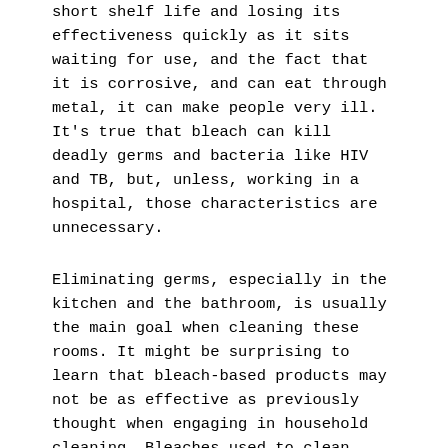short shelf life and losing its effectiveness quickly as it sits waiting for use, and the fact that it is corrosive, and can eat through metal, it can make people very ill. It's true that bleach can kill deadly germs and bacteria like HIV and TB, but, unless, working in a hospital, those characteristics are unnecessary.
Eliminating germs, especially in the kitchen and the bathroom, is usually the main goal when cleaning these rooms. It might be surprising to learn that bleach-based products may not be as effective as previously thought when engaging in household cleaning. Bleaches used to clean surfaces struggles to pick up the actual dirt containing the bacterial elements that need to be eradicated. This is due to bleaches being a non-surfactant. This means that the chemicals in bleaches cannot break the surface tension of oily substances, rendering ineffective in